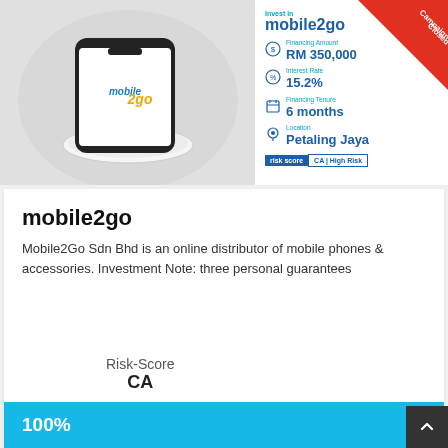[Figure (photo): Photo of a smartphone with mobile2go logo on screen, placed on a white wireless charger pad, on a light grey background]
[Figure (infographic): Investment campaign info panel for mobile2go: Financing Amount RM 350,000, Interest Rate 15.2%, Financing Tenure 6 months, Location Petaling Jaya, Risk Score CA | High Risk, with Campaign Closed red ribbon]
mobile2go
Mobile2Go Sdn Bhd is an online distributor of mobile phones & accessories. Investment Note: three personal guarantees
Risk-Score
CA
100%